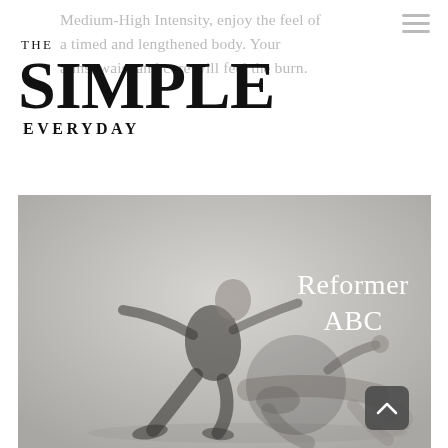Medium-High Intensity, enjoy the feel of a timed and lengthened body. Your arms, waist and core will feel the burn.
THE SIMPLE EVERYDAY
[Figure (photo): Black and white composite photograph of a person in dark athletic wear performing pilates-style poses on a light grey background. Multiple exposure effect showing seated and prone positions. Text overlay reads 'Reformer ABC' in white serif font. A dark rounded square button with an up-arrow chevron appears in the bottom right corner.]